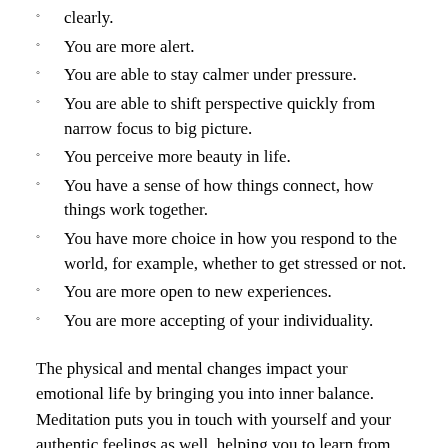clearly.
You are more alert.
You are able to stay calmer under pressure.
You are able to shift perspective quickly from narrow focus to big picture.
You perceive more beauty in life.
You have a sense of how things connect, how things work together.
You have more choice in how you respond to the world, for example, whether to get stressed or not.
You are more open to new experiences.
You are more accepting of your individuality.
The physical and mental changes impact your emotional life by bringing you into inner balance. Meditation puts you in touch with yourself and your authentic feelings as well, helping you to learn from and integrate your emotions.